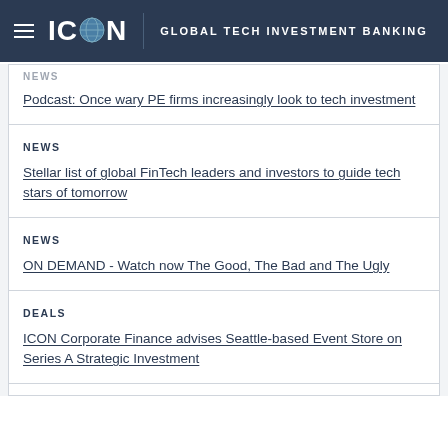ICON GLOBAL TECH INVESTMENT BANKING
NEWS
Podcast: Once wary PE firms increasingly look to tech investment
NEWS
Stellar list of global FinTech leaders and investors to guide tech stars of tomorrow
NEWS
ON DEMAND - Watch now The Good, The Bad and The Ugly
DEALS
ICON Corporate Finance advises Seattle-based Event Store on Series A Strategic Investment